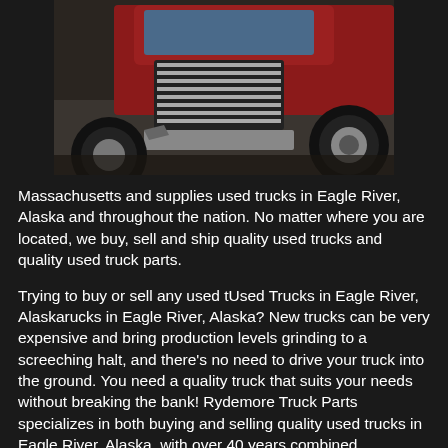[Figure (photo): Close-up photo of a damaged or heavily used red semi-truck front end, showing the grille, bumper, and large tire, on a dark/gravel background.]
Massachusetts and supplies used trucks in Eagle River, Alaska and throughout the nation. No matter where you are located, we buy, sell and ship quality used trucks and quality used truck parts.
Trying to buy or sell any used tUsed Trucks in Eagle River, Alaskarucks in Eagle River, Alaska? New trucks can be very expensive and bring production levels grinding to a screeching halt, and there's no need to drive your truck into the ground. You need a quality truck that suits your needs without breaking the bank! Rydemore Truck Parts specializes in both buying and selling quality used trucks in Eagle River, Alaska, with over 40 years combined knowledge in the industry.
When you choose Rydemore, you get a reliable Eagle